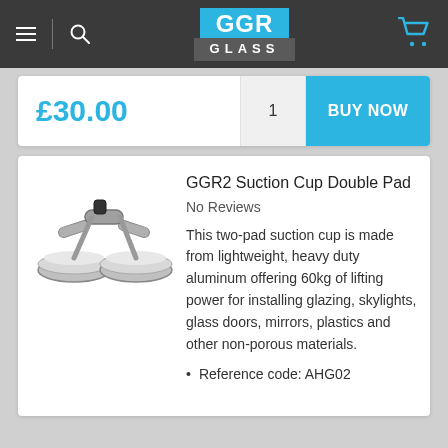[Figure (screenshot): GGR Glass website navigation bar with hamburger menu, search icon, GGR Glass logo, and shopping cart icon]
£30.00
1
BUY NOW
[Figure (photo): GGR2 Suction Cup Double Pad - a two-pad aluminum suction cup device photographed on white background]
GGR2 Suction Cup Double Pad
No Reviews
This two-pad suction cup is made from lightweight, heavy duty aluminum offering 60kg of lifting power for installing glazing, skylights, glass doors, mirrors, plastics and other non-porous materials.
Reference code: AHG02